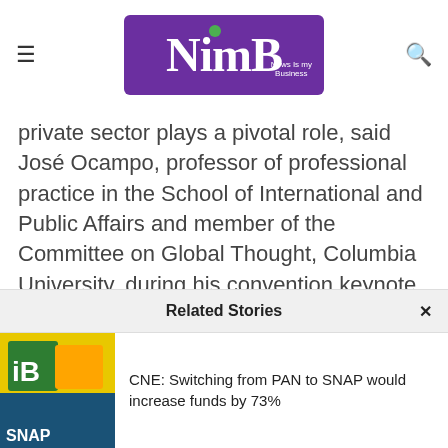NimB – News Is My Business
private sector plays a pivotal role, said José Ocampo, professor of professional practice in the School of International and Public Affairs and member of the Committee on Global Thought, Columbia University, during his convention keynote speech.
“Puerto Rico should consider drafting an agreement to restructure the economy based on consultation.
Related Stories
CNE: Switching from PAN to SNAP would increase funds by 73%